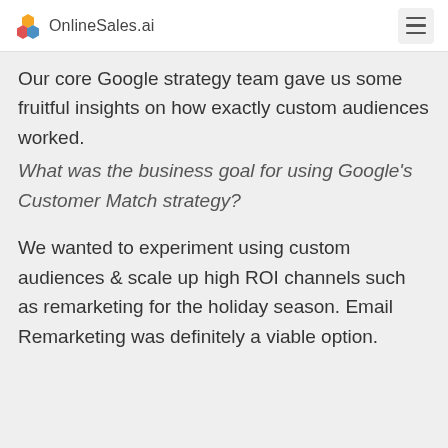OnlineSales.ai
Our core Google strategy team gave us some fruitful insights on how exactly custom audiences worked.
What was the business goal for using Google's Customer Match strategy?
We wanted to experiment using custom audiences & scale up high ROI channels such as remarketing for the holiday season. Email Remarketing was definitely a viable option.